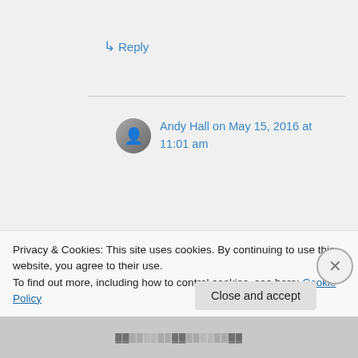↳ Reply
Andy Hall on May 15, 2016 at 11:01 am
The book is quite an eye-opener when it comes to Hood's severe injuries at Gettysburg and Chickamauga, and the
Privacy & Cookies: This site uses cookies. By continuing to use this website, you agree to their use.
To find out more, including how to control cookies, see here: Cookie Policy
Close and accept